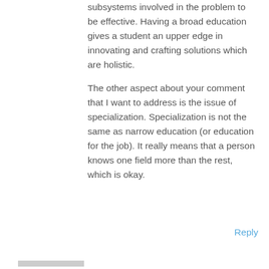subsystems involved in the problem to be effective. Having a broad education gives a student an upper edge in innovating and crafting solutions which are holistic.
The other aspect about your comment that I want to address is the issue of specialization. Specialization is not the same as narrow education (or education for the job). It really means that a person knows one field more than the rest, which is okay.
Reply